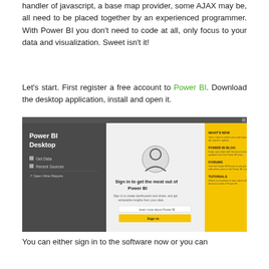handler of javascript, a base map provider, some AJAX may be, all need to be placed together by an experienced programmer. With Power BI you don't need to code at all, only focus to your data and visualization. Sweet isn't it!
Let's start. First register a free account to Power BI. Download the desktop application, install and open it.
[Figure (screenshot): Power BI Desktop welcome screen showing left dark panel with 'Power BI Desktop' title, Get Data, Recent Sources, Open Other Reports options; center light panel with user icon and 'Sign in to get the most out of Power BI' text and Sign in button; right yellow panel with WHAT'S NEW, POWER BI BLOG, FORUMS, TUTORIALS sections.]
You can either sign in to the software now or you can